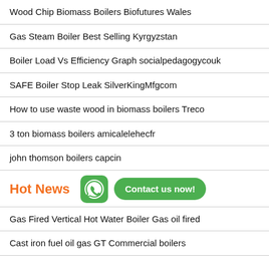Wood Chip Biomass Boilers Biofutures Wales
Gas Steam Boiler Best Selling Kyrgyzstan
Boiler Load Vs Efficiency Graph socialpedagogycouk
SAFE Boiler Stop Leak SilverKingMfgcom
How to use waste wood in biomass boilers Treco
3 ton biomass boilers amicalelehecfr
john thomson boilers capcin
Hot News | Contact us now!
Gas Fired Vertical Hot Water Boiler Gas oil fired
Cast iron fuel oil gas GT Commercial boilers